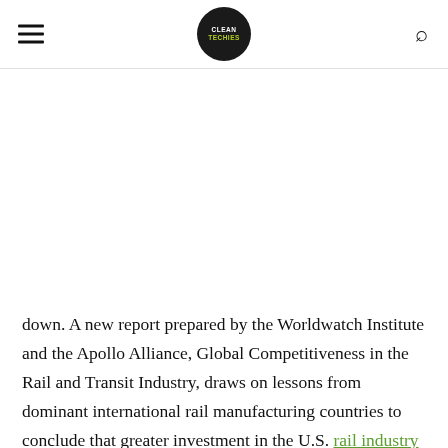CLEANTECHIES logo with hamburger menu and search icon
down. A new report prepared by the Worldwatch Institute and the Apollo Alliance, Global Competitiveness in the Rail and Transit Industry, draws on lessons from dominant international rail manufacturing countries to conclude that greater investment in the U.S. rail industry could revive America's former leadership in